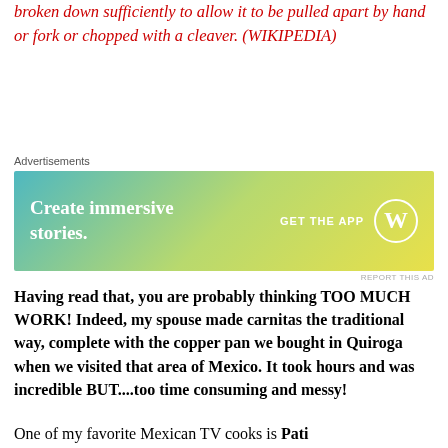broken down sufficiently to allow it to be pulled apart by hand or fork or chopped with a cleaver. (WIKIPEDIA)
[Figure (screenshot): Advertisement banner with gradient background (teal to yellow-green). Text reads 'Create immersive stories.' on the left and 'GET THE APP' with a WordPress logo on the right.]
Having read that, you are probably thinking TOO MUCH WORK! Indeed, my spouse made carnitas the traditional way, complete with the copper pan we bought in Quiroga when we visited that area of Mexico. It took hours and was incredible BUT....too time consuming and messy!
One of my favorite Mexican TV cooks is Pati